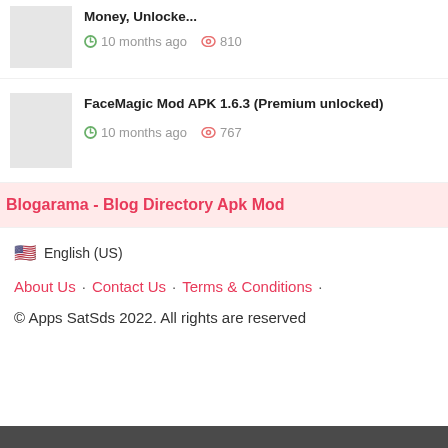Money, Unlocke...  10 months ago  810
FaceMagic Mod APK 1.6.3 (Premium unlocked)  10 months ago  767
Blogarama - Blog Directory Apk Mod
🇺🇸  English (US)
About Us · Contact Us · Terms & Conditions ·
© Apps SatSds 2022. All rights are reserved